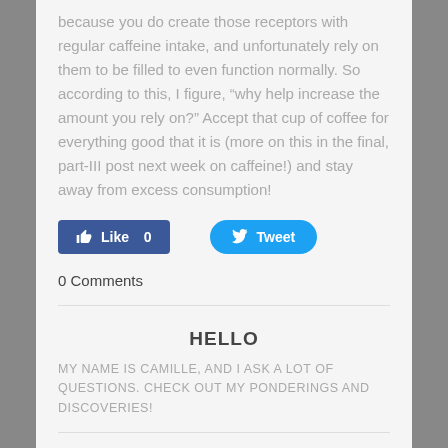because you do create those receptors with regular caffeine intake, and unfortunately rely on them to be filled to even function normally. So according to this, I figure, “why help increase the amount you rely on?” Accept that cup of coffee for everything good that it is (more on this in the final, part-III post next week on caffeine!) and stay away from excess consumption!
[Figure (other): Facebook Like button showing 'Like 0' and Twitter Tweet button]
0 Comments
HELLO
MY NAME IS CAMILLE, AND I ASK A LOT OF QUESTIONS. CHECK OUT MY PONDERINGS AND DISCOVERIES!
Archives
February 2015
Categories